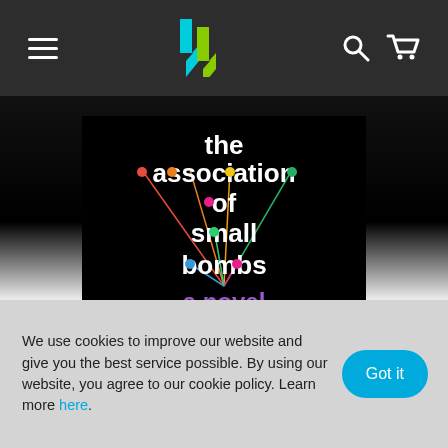Navigation bar with hamburger menu, logo, search and cart icons
[Figure (illustration): Book cover for 'The Association of Small Bombs: a novel' by Karan, black background with colorful dots and lines connecting letters, white bold text]
We use cookies to improve our website and give you the best service possible. By using our website, you agree to our cookie policy. Learn more here.